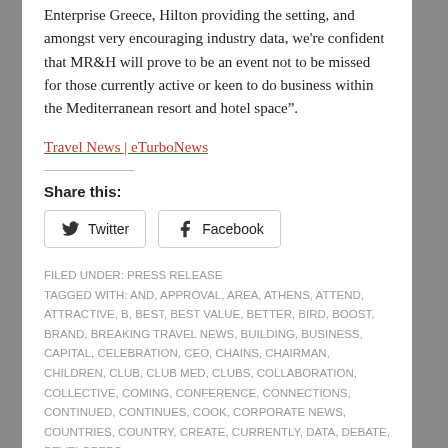Enterprise Greece, Hilton providing the setting, and amongst very encouraging industry data, we're confident that MR&H will prove to be an event not to be missed for those currently active or keen to do business within the Mediterranean resort and hotel space".
Travel News | eTurboNews
Share this:
Twitter  Facebook
FILED UNDER: PRESS RELEASE
TAGGED WITH: AND, APPROVAL, AREA, ATHENS, ATTEND, ATTRACTIVE, B, BEST, BEST VALUE, BETTER, BIRD, BOOST, BRAND, BREAKING TRAVEL NEWS, BUILDING, BUSINESS, CAPITAL, CELEBRATION, CEO, CHAINS, CHAIRMAN, CHILDREN, CLUB, CLUB MED, CLUBS, COLLABORATION, COLLECTIVE, COMING, CONFERENCE, CONNECTIONS, CONTINUED, CONTINUES, COOK, CORPORATE NEWS, COUNTRIES, COUNTRY, CREATE, CURRENTLY, DATA, DEBATE, DEVELOPERS,